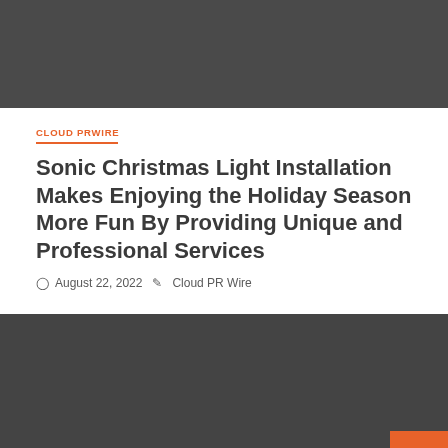[Figure (photo): Dark gray image placeholder bar at the top of the page]
CLOUD PRWIRE
Sonic Christmas Light Installation Makes Enjoying the Holiday Season More Fun By Providing Unique and Professional Services
August 22, 2022   Cloud PR Wire
[Figure (photo): Dark gray image placeholder in the lower portion of the page with an orange back-to-top button in the bottom right corner]